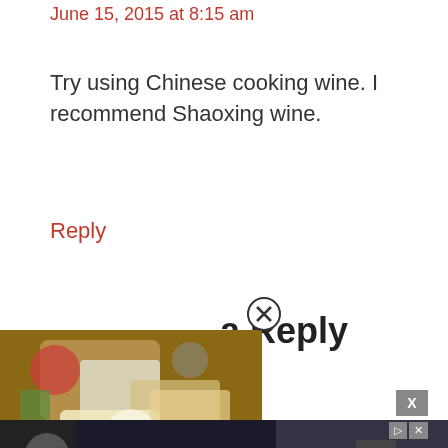June 15, 2015 at 8:15 am
Try using Chinese cooking wine. I recommend Shaoxing wine.
Reply
a Reply
[Figure (screenshot): Video player overlay showing food dish with play button and host thumbnail. Close button (X in circle) at top right of video.]
[Figure (screenshot): Advertisement overlay: 'Download Helbiz and ride' on dark background with scooter image, skip button, close X button, and ad icons.]
Your email address will not be published. Required
Requ